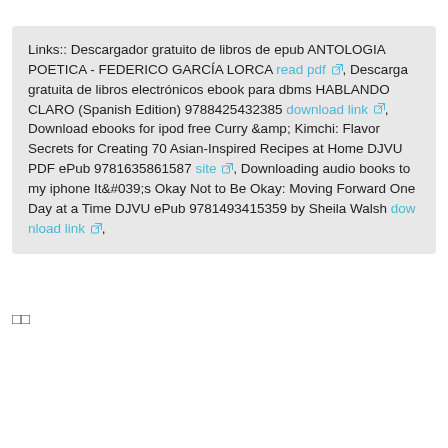Links:: Descargador gratuito de libros de epub ANTOLOGIA POETICA - FEDERICO GARCÍA LORCA read pdf [ext], Descarga gratuita de libros electrónicos ebook para dbms HABLANDO CLARO (Spanish Edition) 9788425432385 download link [ext], Download ebooks for ipod free Curry &amp; Kimchi: Flavor Secrets for Creating 70 Asian-Inspired Recipes at Home DJVU PDF ePub 9781635861587 site [ext], Downloading audio books to my iphone It&#039;s Okay Not to Be Okay: Moving Forward One Day at a Time DJVU ePub 9781493415359 by Sheila Walsh download link [ext],
□□